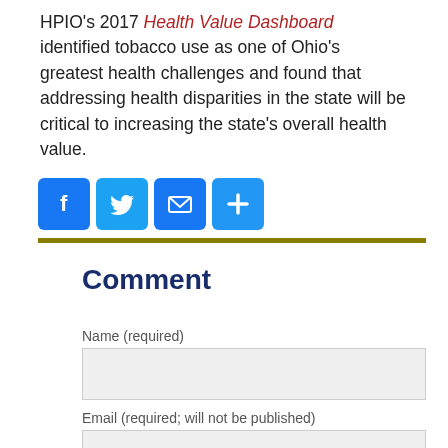HPIO's 2017 Health Value Dashboard identified tobacco use as one of Ohio's greatest health challenges and found that addressing health disparities in the state will be critical to increasing the state's overall health value.
[Figure (infographic): Row of four social media share buttons: Facebook (blue f), Twitter (blue bird), Email (blue envelope), and share/plus (blue plus sign), followed by a gold horizontal rule.]
Comment
Name (required)
Email (required; will not be published)